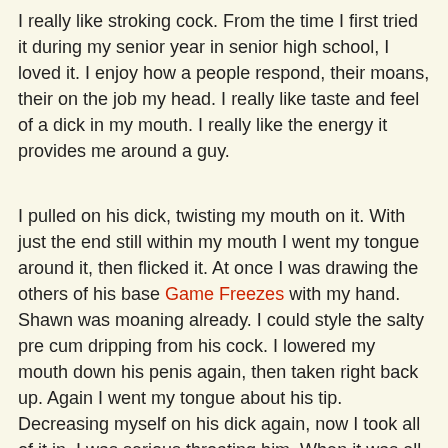I really like stroking cock. From the time I first tried it during my senior year in senior high school, I loved it. I enjoy how a people respond, their moans, their on the job my head. I really like taste and feel of a dick in my mouth. I really like the energy it provides me around a guy.
I pulled on his dick, twisting my mouth on it. With just the end still within my mouth I went my tongue around it, then flicked it. At once I was drawing the others of his base Game Freezes with my hand. Shawn was moaning already. I could style the salty pre cum dripping from his cock. I lowered my mouth down his penis again, then taken right back up. Again I went my tongue about his tip. Decreasing myself on his dick again, now I took all of it in, I was serious throating him. When it was all the way in I held it there, rubbing my language along his shaft.